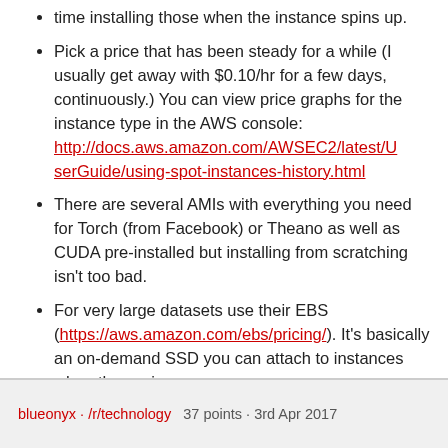time installing those when the instance spins up.
Pick a price that has been steady for a while (I usually get away with $0.10/hr for a few days, continuously.) You can view price graphs for the instance type in the AWS console: http://docs.aws.amazon.com/AWSEC2/latest/UserGuide/using-spot-instances-history.html
There are several AMIs with everything you need for Torch (from Facebook) or Theano as well as CUDA pre-installed but installing from scratching isn't too bad.
For very large datasets use their EBS (https://aws.amazon.com/ebs/pricing/). It's basically an on-demand SSD you can attach to instances when they spin up.
blueonyx · /r/technology   37 points · 3rd Apr 2017